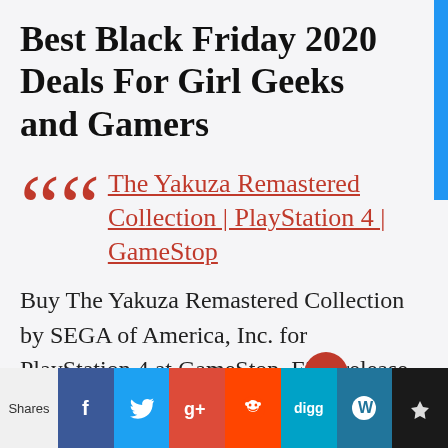Best Black Friday 2020 Deals For Girl Geeks and Gamers
The Yakuza Remastered Collection | PlayStation 4 | GameStop
Buy The Yakuza Remastered Collection by SEGA of America, Inc. for PlayStation 4 at GameStop. Find release
Shares  [social icons: Facebook, Twitter, Google+, Reddit, Digg, WordPress, Crown]